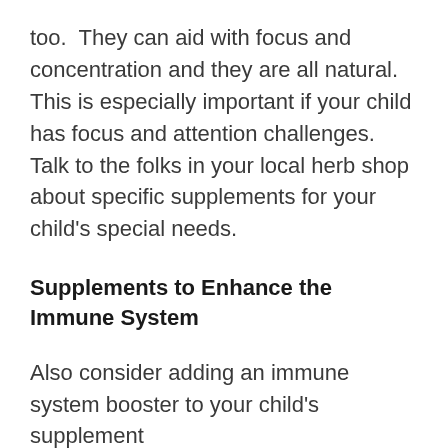too.  They can aid with focus and concentration and they are all natural. This is especially important if your child has focus and attention challenges.  Talk to the folks in your local herb shop about specific supplements for your child's special needs.
Supplements to Enhance the Immune System
Also consider adding an immune system booster to your child's supplement